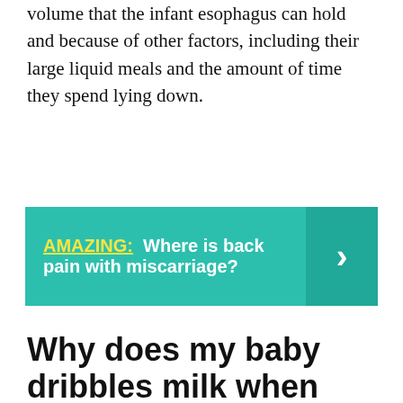volume that the infant esophagus can hold and because of other factors, including their large liquid meals and the amount of time they spend lying down.
[Figure (infographic): Teal callout box with text 'AMAZING: Where is back pain with miscarriage?' and a right-arrow chevron on the right side in a darker teal panel.]
Why does my baby dribbles milk when feeding?
I'm sorry to hear that your lo is dribbling a lot when she is feeding. It is probably something that she will grow out of. It is probably that she is struggling with the flow of the milk, and as she can not keep up with it then it dribbles out. Make sure that you are